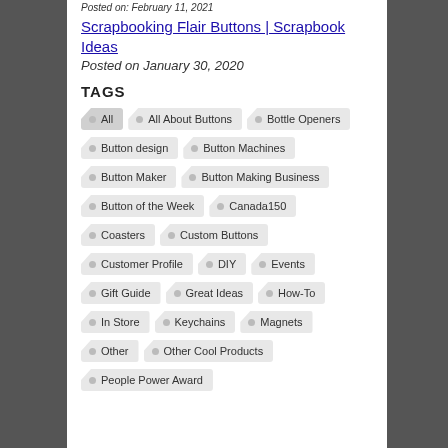Posted on: February 11, 2021
Scrapbooking Flair Buttons | Scrapbook Ideas
Posted on January 30, 2020
TAGS
All
All About Buttons
Bottle Openers
Button design
Button Machines
Button Maker
Button Making Business
Button of the Week
Canada150
Coasters
Custom Buttons
Customer Profile
DIY
Events
Gift Guide
Great Ideas
How-To
In Store
Keychains
Magnets
Other
Other Cool Products
People Power Award